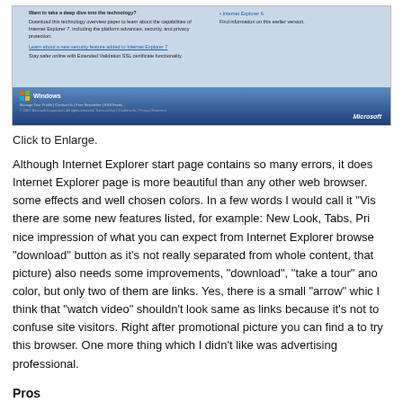[Figure (screenshot): Screenshot of Internet Explorer start page showing Microsoft Windows website footer with blue gradient background, navigation links, Windows logo, and Microsoft branding. Upper portion shows text about Internet Explorer 7 technology overview paper with security feature information and links.]
Click to Enlarge.
Although Internet Explorer start page contains so many errors, it does Internet Explorer page is more beautiful than any other web browser. some effects and well chosen colors. In a few words I would call it "Vis there are some new features listed, for example: New Look, Tabs, Pri nice impression of what you can expect from Internet Explorer browse "download" button as it's not really separated from whole content, that picture) also needs some improvements, "download", "take a tour" an color, but only two of them are links. Yes, there is a small "arrow" whic I think that "watch video" shouldn't look same as links because it's not to confuse site visitors. Right after promotional picture you can find a to try this browser. One more thing which I didn't like was advertising professional.
Pros